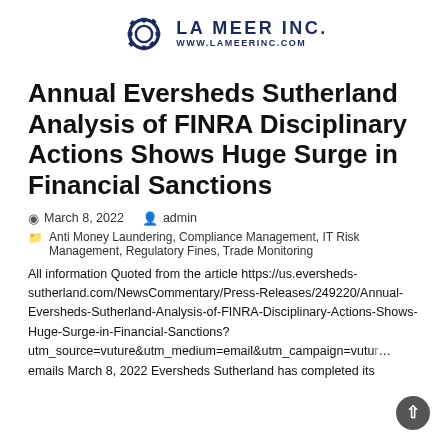[Figure (logo): La Meer Inc. logo with gear icon and text LA MEER INC. WWW.LAMEERINC.COM in navy blue]
Annual Eversheds Sutherland Analysis of FINRA Disciplinary Actions Shows Huge Surge in Financial Sanctions
March 8, 2022   admin
Anti Money Laundering, Compliance Management, IT Risk Management, Regulatory Fines, Trade Monitoring
All information Quoted from the article https://us.eversheds-sutherland.com/NewsCommentary/Press-Releases/249220/Annual-Eversheds-Sutherland-Analysis-of-FINRA-Disciplinary-Actions-Shows-Huge-Surge-in-Financial-Sanctions?utm_source=vuture&utm_medium=email&utm_campaign=vut... emails March 8, 2022 Eversheds Sutherland has completed its